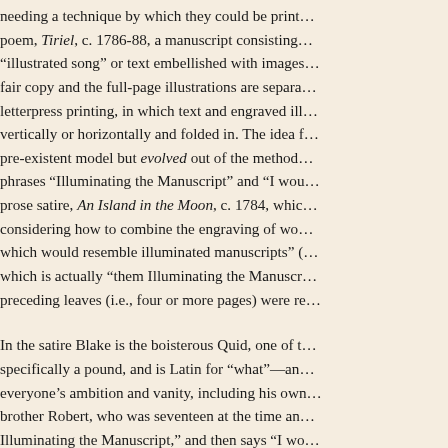needing a technique by which they could be print... poem, Tiriel, c. 1786-88, a manuscript consisting... "illustrated song" or text embellished with images... fair copy and the full-page illustrations are separa... letterpress printing, in which text and engraved ill... vertically or horizontally and folded in. The idea f... pre-existent model but evolved out of the method... phrases "Illuminating the Manuscript" and "I wou... prose satire, An Island in the Moon, c. 1784, whic... considering how to combine the engraving of wo... which would resemble illuminated manuscripts" (... which is actually "them Illuminating the Manuscr... preceding leaves (i.e., four or more pages) were re...
In the satire Blake is the boisterous Quid, one of t... specifically a pound, and is Latin for "what"—an... everyone's ambition and vanity, including his own... brother Robert, who was seventeen at the time an... Illuminating the Manuscript," and then says "I wo... high finished print all in three Volumes folio, & se... which "she" (Mrs. Gittipin?) responds: "whoever... 465). Quid does not define "them," the workers r...